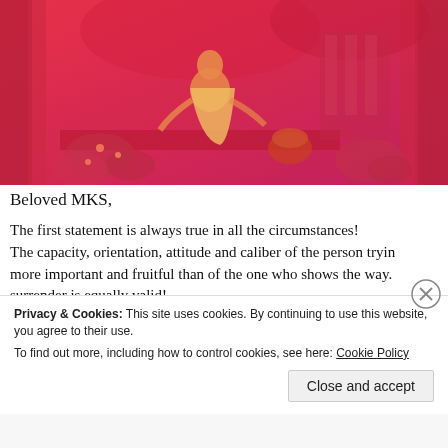[Figure (illustration): A reddish-pink toned artistic illustration depicting a sage or ascetic figure seated outdoors near trees and foliage, in a classical Indian artistic style.]
Beloved MKS,
The first statement is always true in all the circumstances! The capacity, orientation, attitude and caliber of the person trying more important and fruitful than of the one who shows the way. surrender is equally valid!
Privacy & Cookies: This site uses cookies. By continuing to use this website, you agree to their use.
To find out more, including how to control cookies, see here: Cookie Policy
Close and accept